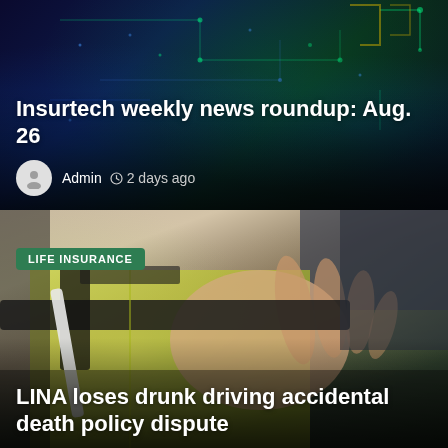[Figure (photo): Dark technology/circuit board background image with blue and green glowing elements, used as the background for the top news card]
Insurtech weekly news roundup: Aug. 26
Admin  2 days ago
[Figure (photo): Close-up photo of a hand gripping something while wearing a yellow/hi-vis safety vest, used as background for the second news card]
LIFE INSURANCE
LINA loses drunk driving accidental death policy dispute